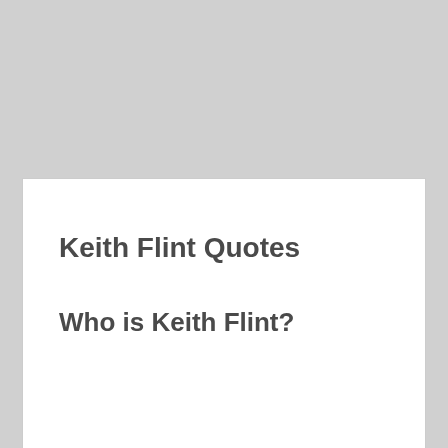Keith Flint Quotes
Who is Keith Flint?
[Figure (logo): Orange/tan colored chevron/arch logo icon in bottom-right corner of card]